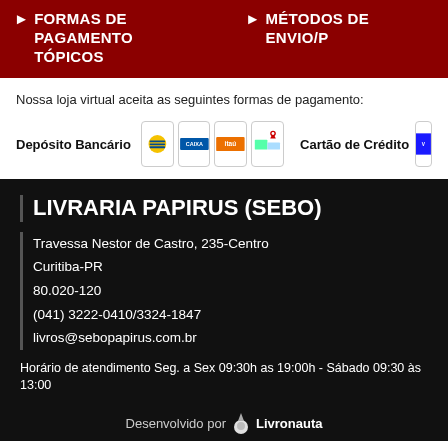FORMAS DE PAGAMENTO TÓPICOS | MÉTODOS DE ENVIO/P
Nossa loja virtual aceita as seguintes formas de pagamento:
[Figure (logo): Payment method logos: Banco do Brasil, Caixa, Itaú, map icon. Labels: Depósito Bancário, Cartão de Crédito]
LIVRARIA PAPIRUS (SEBO)
Travessa Nestor de Castro, 235-Centro
Curitiba-PR
80.020-120
(041) 3222-0410/3324-1847
livros@sebopapirus.com.br
Horário de atendimento Seg. a Sex 09:30h as 19:00h - Sábado 09:30 às 13:00
Desenvolvido por Livronauta